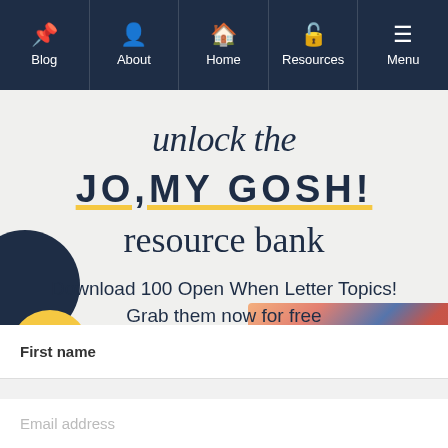Blog | About | Home | Resources | Menu
unlock the JO,MY GOSH! resource bank
Download 100 Open When Letter Topics! Grab them now for free
[Figure (screenshot): Partial view of envelope/letter image in background]
First name
Email address